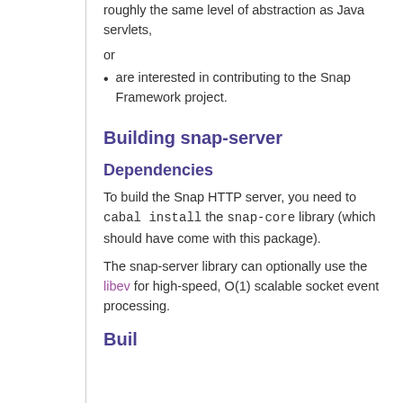roughly the same level of abstraction as Java servlets,
or
are interested in contributing to the Snap Framework project.
Building snap-server
Dependencies
To build the Snap HTTP server, you need to cabal install the snap-core library (which should have come with this package).
The snap-server library can optionally use the libev for high-speed, O(1) scalable socket event processing.
Buil...